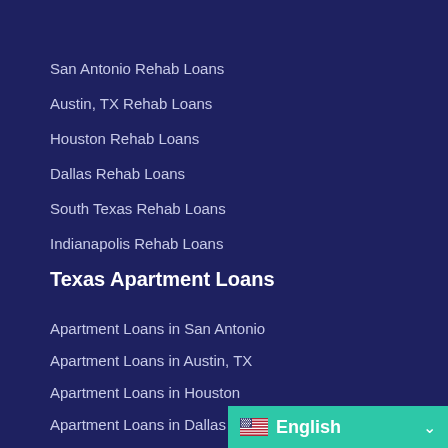San Antonio Rehab Loans
Austin, TX Rehab Loans
Houston Rehab Loans
Dallas Rehab Loans
South Texas Rehab Loans
Indianapolis Rehab Loans
Texas Apartment Loans
Apartment Loans in San Antonio
Apartment Loans in Austin, TX
Apartment Loans in Houston
Apartment Loans in Dallas
Apartment Loans in South Texas
Apartment Loans in Indianapolis
[Figure (other): Language selector bar showing US flag and English text with dropdown arrow on teal background]